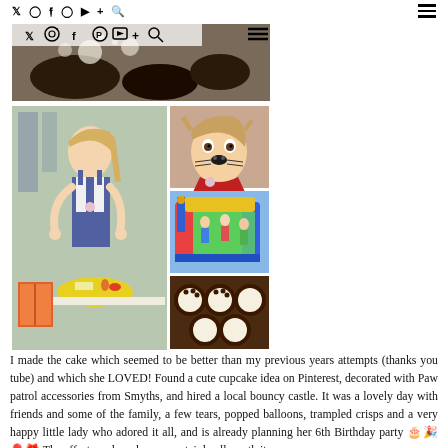Social media icons (Twitter, Instagram, Facebook, Pinterest, YouTube, Plus, Search) and hamburger menu
[Figure (photo): Collage of birthday party photos: top image shows Paw Patrol themed cake/cupcakes, bottom-left shows a young girl in denim overalls at a food table, bottom-right top shows close-up of girl with face paint, bottom-right middle shows children on a bouncy castle, bottom-right bottom shows chocolate cupcakes decorated as paw prints]
I made the cake which seemed to be better than my previous years attempts (thanks you tube) and which she LOVED! Found a cute cupcake idea on Pinterest, decorated with Paw patrol accessories from Smyths, and hired a local bouncy castle. It was a lovely day with friends and some of the family, a few tears, popped balloons, trampled crisps and a very happy little lady who adored it all, and is already planning her 6th Birthday party 🎂🎉🎈🎁 The efforts and work were certainly all worth it